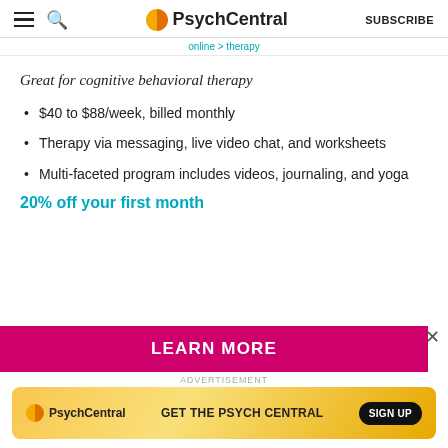PsychCentral — SUBSCRIBE
online therapy (breadcrumb)
Great for cognitive behavioral therapy
$40 to $88/week, billed monthly
Therapy via messaging, live video chat, and worksheets
Multi-faceted program includes videos, journaling, and yoga
20% off your first month
LEARN MORE
ADVERTISEMENT — PsychCentral GET THE PSYCH CENTRAL SIGN UP